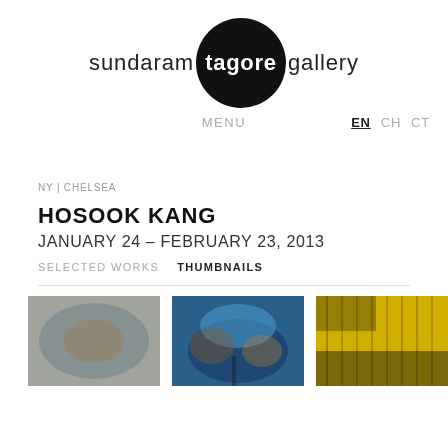[Figure (logo): Sundaram Tagore Gallery logo: text 'sundaram tagore gallery' with 'tagore' in a black circle]
MENU    EN  CH  CT
NY | CHELSEA
HOSOOK KANG
JANUARY 24 – FEBRUARY 23, 2013
SELECTED WORKS    THUMBNAILS
[Figure (photo): Three thumbnail images of artworks by Hosook Kang — first shows abstract blue/brown tones, second shows blue abstract with tree-like forms, third shows a yellow/gold textured pattern with dark elements]